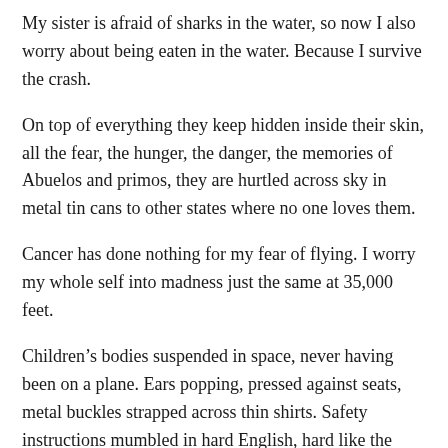My sister is afraid of sharks in the water, so now I also worry about being eaten in the water. Because I survive the crash.
On top of everything they keep hidden inside their skin, all the fear, the hunger, the danger, the memories of Abuelos and primos, they are hurtled across sky in metal tin cans to other states where no one loves them.
Cancer has done nothing for my fear of flying. I worry my whole self into madness just the same at 35,000 feet.
Children’s bodies suspended in space, never having been on a plane. Ears popping, pressed against seats, metal buckles strapped across thin shirts. Safety instructions mumbled in hard English, hard like the desert and barbed wire of the first journey.